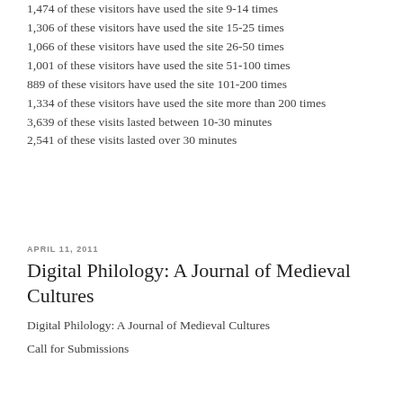1,474 of these visitors have used the site 9-14 times
1,306 of these visitors have used the site 15-25 times
1,066 of these visitors have used the site 26-50 times
1,001 of these visitors have used the site 51-100 times
889 of these visitors have used the site 101-200 times
1,334 of these visitors have used the site more than 200 times
3,639 of these visits lasted between 10-30 minutes
2,541 of these visits lasted over 30 minutes
APRIL 11, 2011
Digital Philology: A Journal of Medieval Cultures
Digital Philology: A Journal of Medieval Cultures
Call for Submissions